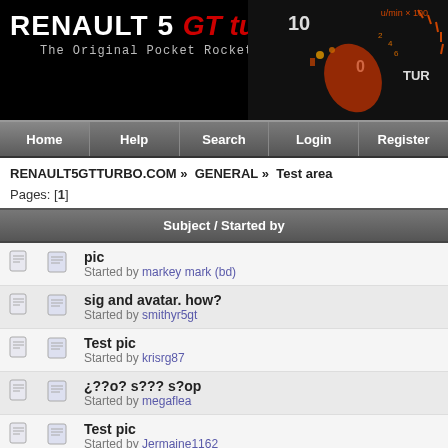[Figure (screenshot): Renault 5 GT Turbo .com website header banner with logo and tachometer/gauge image on black background]
Home | Help | Search | Login | Register
RENAULT5GTTURBO.COM » GENERAL » Test area
Pages: [1]
| Subject / Started by |
| --- |
| pic
Started by markey mark (bd) |
| sig and avatar. how?
Started by smithyr5gt |
| Test pic
Started by krisrg87 |
| ¿??o? s??? s?op
Started by megaflea |
| Test pic
Started by Jermaine1162 |